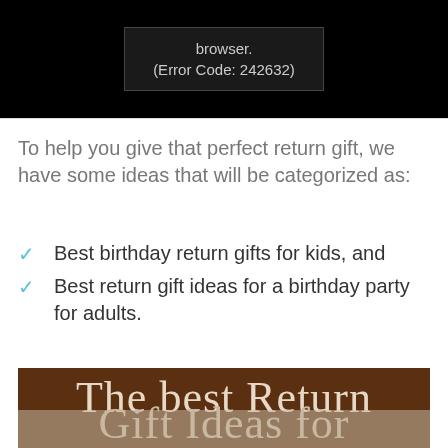[Figure (screenshot): Video player error message on black background showing 'browser. (Error Code: 242632)']
To help you give that perfect return gift, we have some ideas that will be categorized as:
Best birthday return gifts for kids, and
Best return gift ideas for a birthday party for adults.
[Figure (illustration): Brown banner with serif text reading 'The best Return Gift Ideas for' partially visible]